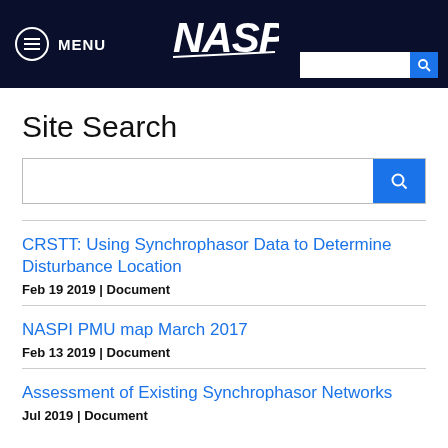MENU  NASPI
Site Search
CRSTT: Using Synchrophasor Data to Determine Disturbance Location
Feb 19 2019 | Document
NASPI PMU map March 2017
Feb 13 2019 | Document
Assessment of Existing Synchrophasor Networks
Jul 2019 | Document